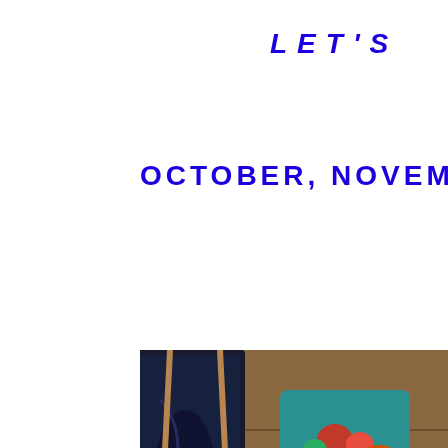LET'S GET CREATIVE
OCTOBER, NOVEMBER, DECEMBER S
[Figure (photo): A woman with dark hair wearing a plaid purple/burgundy blanket wrap, holding a green mug, sitting in an art studio surrounded by easels, canvases, and paintings.]